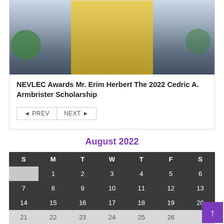[Figure (photo): Two people exchanging an envelope/certificate at an award ceremony with green branded backdrop]
NEVLEC Awards Mr. Erim Herbert The 2022 Cedric A. Armbrister Scholarship
◄ PREV
NEXT ►
August 2022
| S | M | T | W | T | F | S |
| --- | --- | --- | --- | --- | --- | --- |
|  | 1 | 2 | 3 | 4 | 5 | 6 |
| 7 | 8 | 9 | 10 | 11 | 12 | 13 |
| 14 | 15 | 16 | 17 | 18 | 19 | 20 |
| 21 | 22 | 23 | 24 | 25 | 26 | 27 |
| 28 | 29 | 30 | 31 |  |  |  |